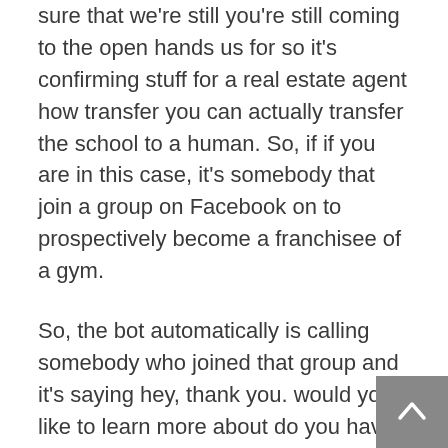sure that we're still you're still coming to the open hands us for so it's confirming stuff for a real estate agent how transfer you can actually transfer the school to a human. So, if if you are in this case, it's somebody that join a group on Facebook on to prospectively become a franchisee of a gym.
So, the bot automatically is calling somebody who joined that group and it's saying hey, thank you. would you like to learn more about do you have time right now? I can introduce you to an expert that can tell you more, right? so it's more lead generation prospecting the next one voice cloning. this is pretty cool this soon enough. you'll see brands that have a